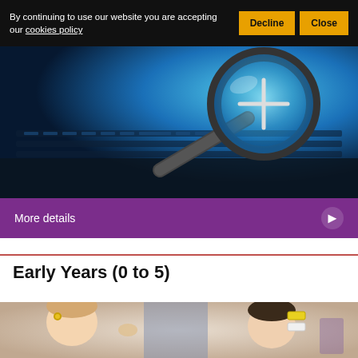By continuing to use our website you are accepting our cookies policy
[Figure (photo): Magnifying glass resting on a laptop keyboard, blue-toned photo]
More details
Early Years (0 to 5)
[Figure (photo): Two young children with hair accessories, early years setting]